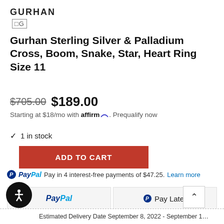GURHAN
Gurhan Sterling Silver & Palladium Cross, Boom, Snake, Star, Heart Ring Size 11
$705.00 $189.00
Starting at $18/mo with affirm. Prequalify now
✓ 1 in stock
ADD TO CART
PayPal Pay in 4 interest-free payments of $47.25. Learn more
[Figure (screenshot): PayPal and Pay Later payment buttons]
Estimated Delivery Date September 8, 2022 - September 1...